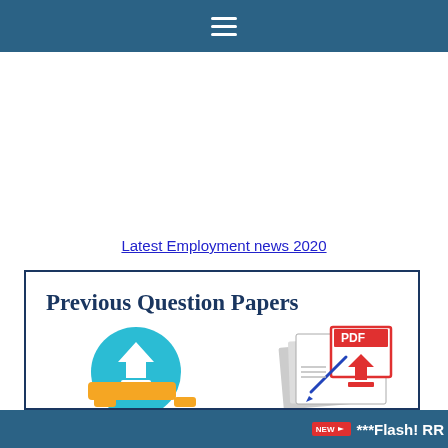≡ (hamburger menu)
Latest Employment news 2020
[Figure (illustration): Banner image titled 'Previous Question Papers' with a teal download circle icon showing a person sitting, and a PDF file icon with a pencil and stacked documents]
NEW *** Flash! RR